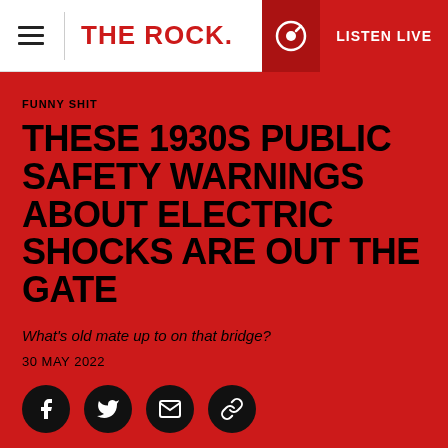THE ROCK. | LISTEN LIVE
FUNNY SHIT
THESE 1930S PUBLIC SAFETY WARNINGS ABOUT ELECTRIC SHOCKS ARE OUT THE GATE
What's old mate up to on that bridge?
30 MAY 2022